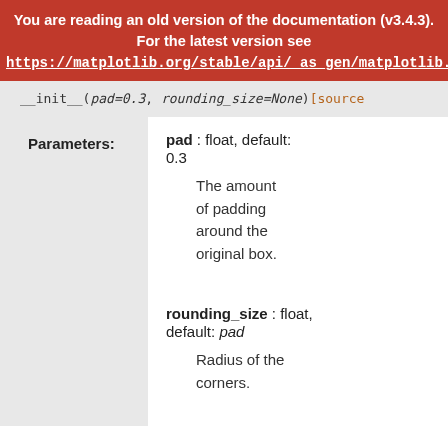You are reading an old version of the documentation (v3.4.3). For the latest version see https://matplotlib.org/stable/api/_as_gen/matplotlib.patches.BoxSt
__init__(pad=0.3, rounding_size=None)[source
| Parameters: | Parameter details |
| --- | --- |
| Parameters: | pad : float, default: 0.3
The amount of padding around the original box. |
|  | rounding_size : float, default: pad
Radius of the corners. |